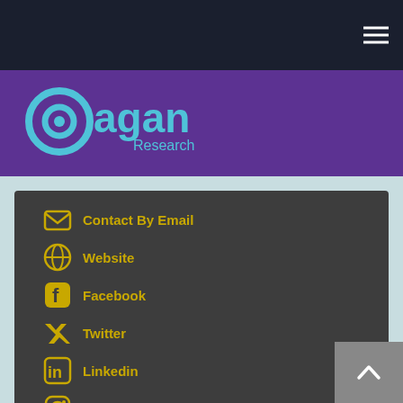Pagan Research
Contact By Email
Website
Facebook
Twitter
Linkedin
Instagram
Youtube
City/Town: West Hollywood